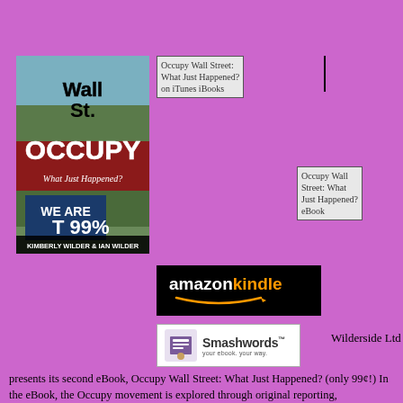[Figure (illustration): Book cover for 'Occupy Wall Street: What Just Happened?' by Kimberly Wilder & Ian Wilder. Shows protest crowd with 'We Are The 99%' sign. Bold typography with 'Wall St. OCCUPY' and 'What Just Happened?' text.]
[Figure (illustration): Placeholder image: 'Occupy Wall Street: What Just Happened? on iTunes iBooks']
[Figure (illustration): Placeholder image: 'Occupy Wall Street: What Just Happened? eBook']
[Figure (logo): Amazon Kindle logo — black rectangle with 'amazon' in white and 'kindle' in orange, with arrow/smile underline]
[Figure (logo): Smashwords logo — white box with stylized hand/book icon and Smashwords wordmark with tagline 'your ebook. your way.']
Wilderside Ltd presents its second eBook, Occupy Wall Street: What Just Happened? (only 99¢!) In the eBook, the Occupy movement is explored through original reporting, photographs, cartoons, poetry, essays, and reviews.The collection of essays and blog posts records the unfolding of Occupy into the culture from September 2011 to the present. Authors Kimberly Wilder and Ian Wilder were early supporters of Occupy, using their internet platforms to communicate the changes being created by the American Autumn. The eBook is currently available on Amazon for Kindle;  Barnes & Noble Nook;  and Smashwords independent eBook seller for only 99¢, and on every...